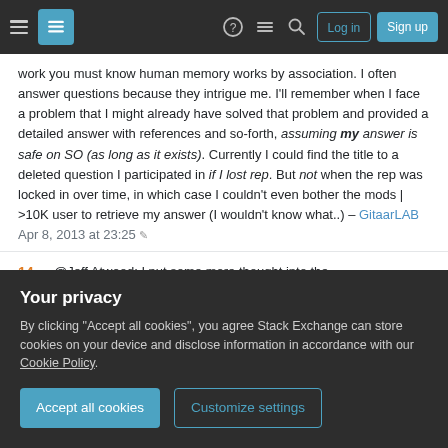Stack Exchange navigation bar with hamburger menu, logo, help, chat, search icons, Log in and Sign up buttons
work you must know human memory works by association. I often answer questions because they intrigue me. I'll remember when I face a problem that I might already have solved that problem and provided a detailed answer with references and so-forth, assuming my answer is safe on SO (as long as it exists). Currently I could find the title to a deleted question I participated in if I lost rep. But not when the rep was locked in over time, in which case I couldn't even bother the mods | >10K user to retrieve my answer (I wouldn't know what..) – GitaarLAB Apr 8, 2013 at 23:25 ✎
14 @Jeff Atwood: I put some more thought into the
Your privacy
By clicking "Accept all cookies", you agree Stack Exchange can store cookies on your device and disclose information in accordance with our Cookie Policy.
Accept all cookies   Customize settings
being able to trust that content you submitted will be